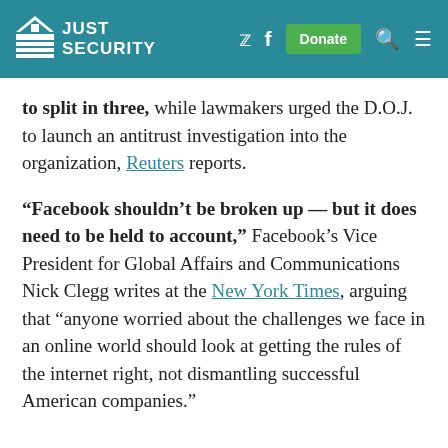JUST SECURITY
to split in three, while lawmakers urged the D.O.J. to launch an antitrust investigation into the organization, Reuters reports.
“Facebook shouldn’t be broken up — but it does need to be held to account,” Facebook’s Vice President for Global Affairs and Communications Nick Clegg writes at the New York Times, arguing that “anyone worried about the challenges we face in an online world should look at getting the rules of the internet right, not dismantling successful American companies.”